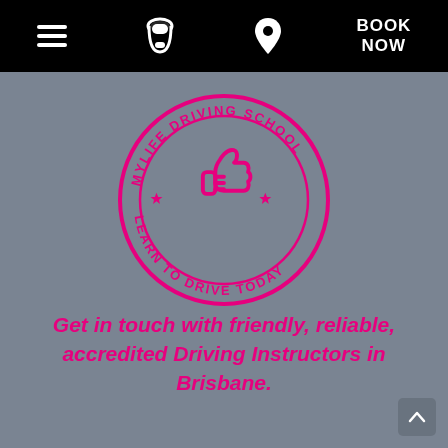[Figure (screenshot): Navigation bar with hamburger menu icon, phone icon, location pin icon, and BOOK NOW text on black background]
[Figure (logo): MyLife Driving School circular logo with thumbs up icon and text 'MYLIFE DRIVING SCHOOL' and 'LEARN TO DRIVE TODAY' in hot pink on grey background]
Get in touch with friendly, reliable, accredited Driving Instructors in Brisbane.